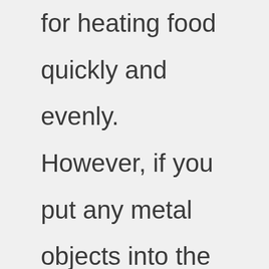for heating food quickly and evenly. However, if you put any metal objects into the microwave, they could get damaged. This includes silverware, knives, forks, spoons, and other utensils. To avoid damage, always remove these items from the microwave before placing them back in. How